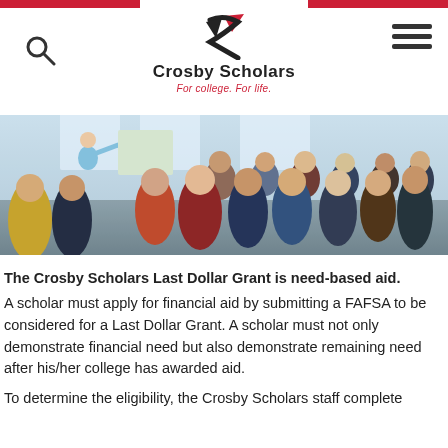[Figure (logo): Crosby Scholars logo with stylized S mark, brand name 'Crosby Scholars' and tagline 'For college. For life.']
[Figure (photo): Classroom scene with a presenter/instructor at the front pointing at a board, with a group of students seated viewing from behind]
The Crosby Scholars Last Dollar Grant is need-based aid. A scholar must apply for financial aid by submitting a FAFSA to be considered for a Last Dollar Grant. A scholar must not only demonstrate financial need but also demonstrate remaining need after his/her college has awarded aid.
To determine the eligibility, the Crosby Scholars staff complete...